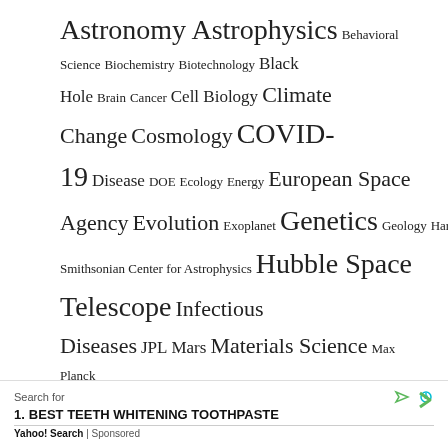Astronomy Astrophysics Behavioral Science Biochemistry Biotechnology Black Hole Brain Cancer Cell Biology Climate Change Cosmology COVID-19 Disease DOE Ecology Energy European Space Agency Evolution Exoplanet Genetics Geology Harvard-Smithsonian Center for Astrophysics Hubble Space Telescope Infectious Diseases JPL Mars Materials Science Max Planck Institute Medicine MIT Nanotechnology NASA NASA Goddard Space Flight Center Neuroscience Nutrition Paleontology Particle Physics Planetary Science Planets Popular Public Health Quantum Physics Vaccine Virology Yale University
Search for
1. BEST TEETH WHITENING TOOTHPASTE
Yahoo! Search | Sponsored